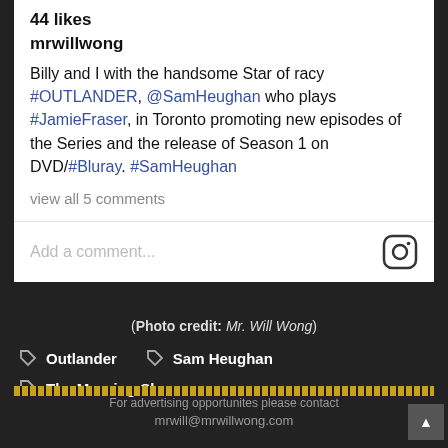44 likes
mrwillwong
Billy and I with the handsome Star of racy #OUTLANDER, @SamHeughan who plays #JamieFraser, in Toronto promoting new episodes of the Series and the release of Season 1 on DVD/#Bluray. #SamHeughan
view all 5 comments
Add a comment...
(Photo credit: Mr. Will Wong)
Outlander
Sam Heughan
The Morning Show
For advertising opportunites please contact mrwill@mrwillwong.com